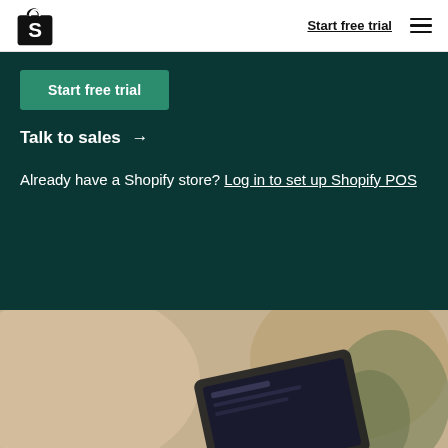Shopify logo | Start free trial | Menu
Start free trial
Talk to sales →
Already have a Shopify store? Log in to set up Shopify POS
[Figure (photo): Blurred photo of a tablet device on a beige/tan surface with a plant visible in the background]